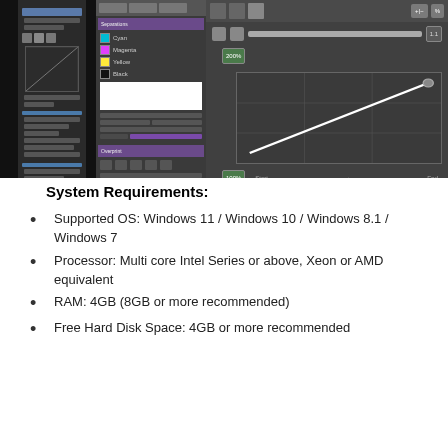[Figure (screenshot): Software UI screenshots showing panels of a graphic design application with dark theme, including layers panel, color panel with CMYK swatches (Cyan, Magenta, Yellow, Black), and gradient editor with diagonal line on grid]
System Requirements:
Supported OS: Windows 11 / Windows 10 / Windows 8.1 / Windows 7
Processor: Multi core Intel Series or above, Xeon or AMD equivalent
RAM: 4GB (8GB or more recommended)
Free Hard Disk Space: 4GB or more recommended